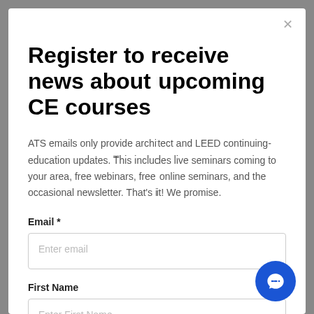Register to receive news about upcoming CE courses
ATS emails only provide architect and LEED continuing-education updates. This includes live seminars coming to your area, free webinars, free online seminars, and the occasional newsletter. That's it! We promise.
Email *
Enter email
First Name
Enter First Name